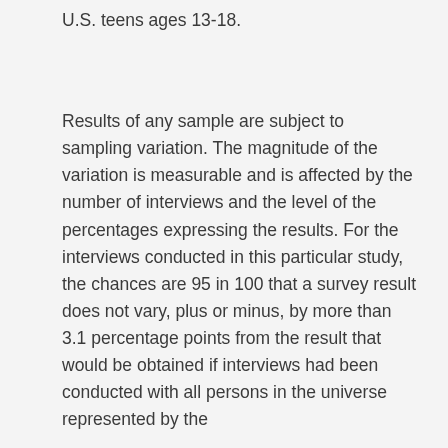U.S. teens ages 13-18.
Results of any sample are subject to sampling variation. The magnitude of the variation is measurable and is affected by the number of interviews and the level of the percentages expressing the results. For the interviews conducted in this particular study, the chances are 95 in 100 that a survey result does not vary, plus or minus, by more than 3.1 percentage points from the result that would be obtained if interviews had been conducted with all persons in the universe represented by the